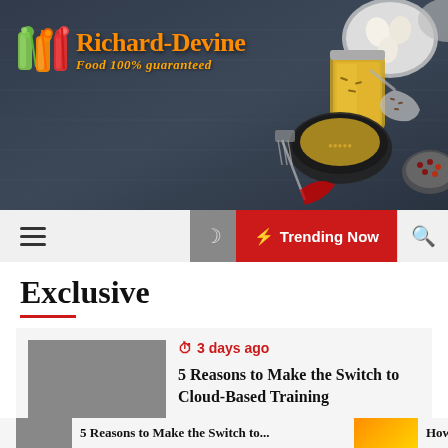[Figure (photo): Website header banner with dark slate background and food/spice ingredients on the right side including bowls of spices, garlic, olive oil, and utensils. Richard-Devine logo with juice glasses icon on the left.]
Richard-Devine
Food 100% guaranteed
☰  🌙  ⚡ Trending Now  🔍
Exclusive
🕐 3 days ago
5 Reasons to Make the Switch to Cloud-Based Training
5 Reasons to Make the Switch to ...  How ...